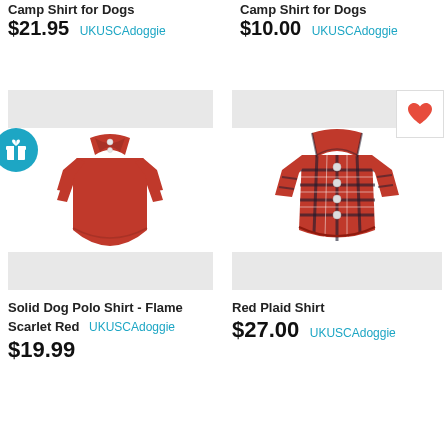Camp Shirt for Dogs
$21.95  UKUSCAdoggie
$10.00  UKUSCAdoggie
[Figure (photo): Red solid dog polo shirt with collar and buttons]
[Figure (photo): Red plaid dog shirt with collar and buttons]
Solid Dog Polo Shirt - Flame Scarlet Red  UKUSCAdoggie
$19.99
Red Plaid Shirt
$27.00  UKUSCAdoggie